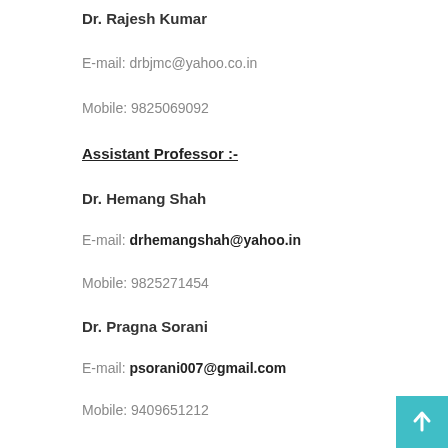Dr. Rajesh Kumar
E-mail: drbjmc@yahoo.co.in
Mobile: 9825069092
Assistant Professor :-
Dr. Hemang Shah
E-mail: drhemangshah@yahoo.in
Mobile: 9825271454
Dr. Pragna Sorani
E-mail: psorani007@gmail.com
Mobile: 9409651212
Dr. Sunayna Pandey
E-mail: sunayna2k7@gmail.com
Mobile: 9898802508
Dr. Sarandha Srivastava